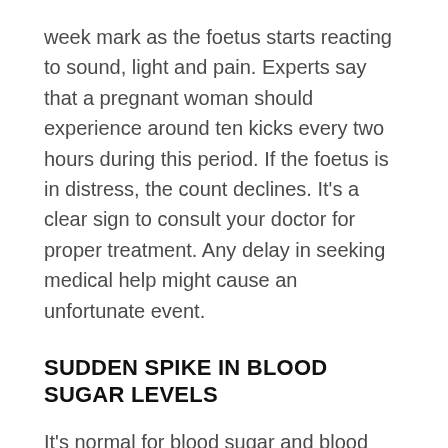week mark as the foetus starts reacting to sound, light and pain. Experts say that a pregnant woman should experience around ten kicks every two hours during this period. If the foetus is in distress, the count declines. It's a clear sign to consult your doctor for proper treatment. Any delay in seeking medical help might cause an unfortunate event.
SUDDEN SPIKE IN BLOOD SUGAR LEVELS
It's normal for blood sugar and blood pressure levels to rise during pregnancy. You should keep these levels throughout the three